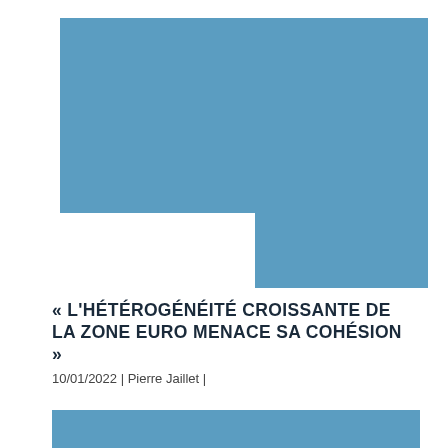[Figure (illustration): Abstract blue geometric shapes forming an L-shape or step pattern in the upper portion of the page — a large blue rectangle at the top and a smaller blue rectangle at the right forming a step, with a white cutout in the lower-left area.]
« L'HÉTÉROGÉNÉITÉ CROISSANTE DE LA ZONE EURO MENACE SA COHÉSION »
10/01/2022 | Pierre Jaillet |
[Figure (illustration): Blue rectangular banner at the bottom of the page.]